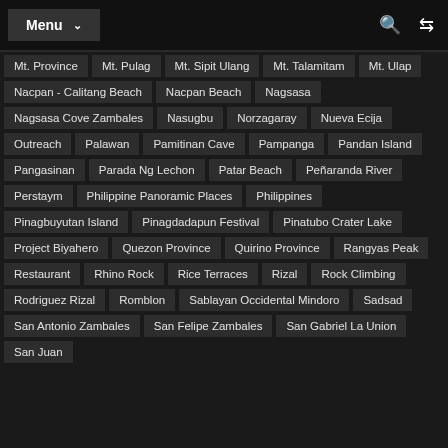Menu
Mt. Province
Mt. Pulag
Mt. Sipit Ulang
Mt. Talamitam
Mt. Ulap
Nacpan - Calitang Beach
Nacpan Beach
Nagsasa
Nagsasa Cove Zambales
Nasugbu
Norzagaray
Nueva Ecija
Outreach
Palawan
Pamitinan Cave
Pampanga
Pandan Island
Pangasinan
Parada Ng Lechon
Patar Beach
Peñaranda River
Perstaym
Philippine Panoramic Places
Philippines
Pinagbuyutan Island
Pinagdadapun Festival
Pinatubo Crater Lake
Project Biyahero
Quezon Province
Quirino Province
Rangyas Peak
Restaurant
Rhino Rock
Rice Terraces
Rizal
Rock Climbing
Rodriguez Rizal
Romblon
Sablayan Occidental Mindoro
Sadsad
San Antonio Zambales
San Felipe Zambales
San Gabriel La Union
San Juan